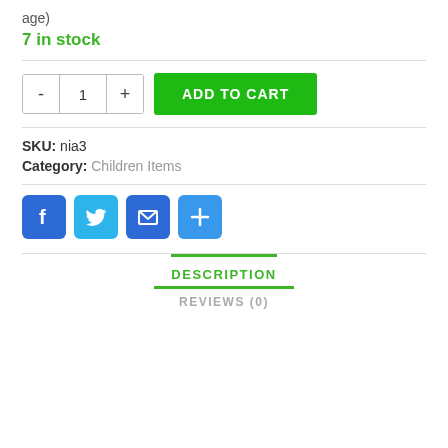age)
7 in stock
ADD TO CART
SKU: nia3
Category: Children Items
[Figure (infographic): Social share icons: Facebook (blue with F), Twitter (light blue with bird), Email (blue with envelope), More (blue with plus sign)]
DESCRIPTION
REVIEWS (0)